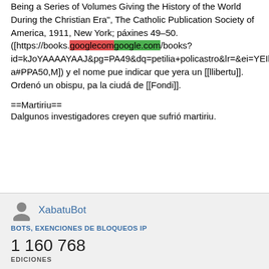Being a Series of Volumes Giving the History of the World During the Christian Era", The Catholic Publication Society of America, 1911, New York; páxines 49–50. ([https://books.googlecomgoogle.com/books?id=kJoYAAAAYAAJ&pg=PA49&dq=petilia+policastro&lr=&ei=YEIbSeKzJ4rIIQSfh6yCAg&client=firefox-a#PPA50,M])</ref> y el nome pue indicar que yera un [[llibertu]].<ref name=Lev/> Ordenó un obispu, pa la ciudá de [[Fondi]].<ref name=montor/>
==Martiriu==
Dalgunos investigadores creyen que sufrió martiriu.<ref
XabatuBot
BOTS, EXENCIONES DE BLOQUEOS IP
1 160 768
EDICIONES